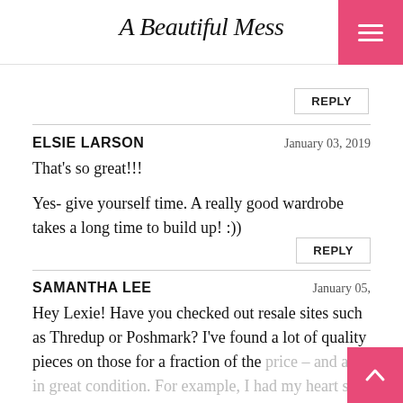A Beautiful Mess
REPLY
ELSIE LARSON — January 03, 2019
That's so great!!!

Yes- give yourself time. A really good wardrobe takes a long time to build up! :))
REPLY
SAMANTHA LEE — January 05,
Hey Lexie! Have you checked out resale sites such as Thredup or Poshmark? I've found a lot of quality pieces on those for a fraction of the price – and all in great condition. For example, I had my heart set on some good Madewell